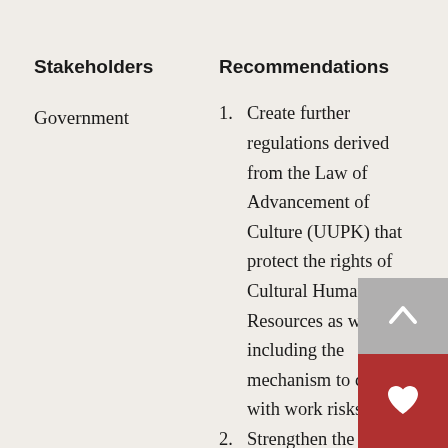| Stakeholders | Recommendations |
| --- | --- |
| Government | 1. Create further regulations derived from the Law of Advancement of Culture (UUPK) that protect the rights of Cultural Human Resources as workers, including the mechanism to cope with work risks.
2. Strengthen the safety nets to prevent and to tackle gender-based violence, especially through the bill on the Elimination of Sexual Violence |